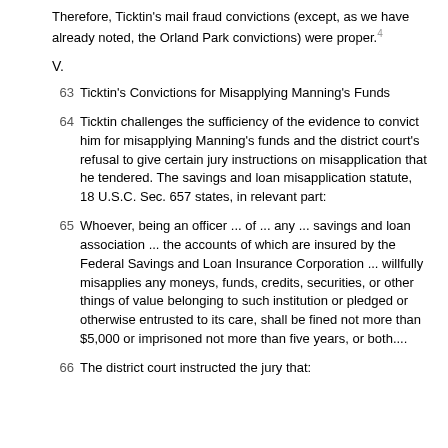Therefore, Ticktin's mail fraud convictions (except, as we have already noted, the Orland Park convictions) were proper.4
V.
63 Ticktin's Convictions for Misapplying Manning's Funds
64 Ticktin challenges the sufficiency of the evidence to convict him for misapplying Manning's funds and the district court's refusal to give certain jury instructions on misapplication that he tendered. The savings and loan misapplication statute, 18 U.S.C. Sec. 657 states, in relevant part:
65 Whoever, being an officer ... of ... any ... savings and loan association ... the accounts of which are insured by the Federal Savings and Loan Insurance Corporation ... willfully misapplies any moneys, funds, credits, securities, or other things of value belonging to such institution or pledged or otherwise entrusted to its care, shall be fined not more than $5,000 or imprisoned not more than five years, or both....
66 The district court instructed the jury that: